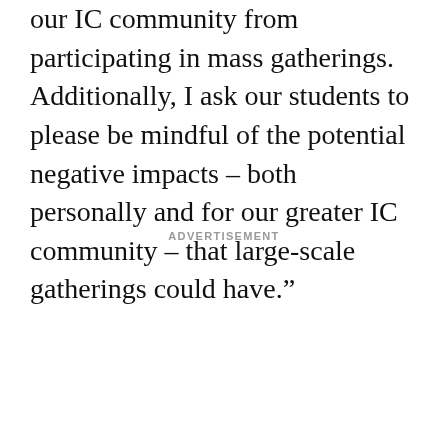our IC community from participating in mass gatherings. Additionally, I ask our students to please be mindful of the potential negative impacts – both personally and for our greater IC community – that large-scale gatherings could have.”
ADVERTISEMENT